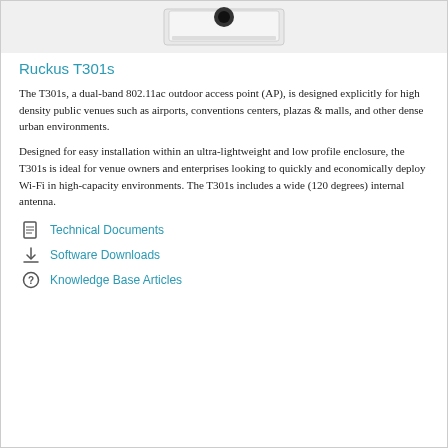[Figure (photo): Product photo of Ruckus T301s outdoor access point — white rectangular enclosure with black circular element on top]
Ruckus T301s
The T301s, a dual-band 802.11ac outdoor access point (AP), is designed explicitly for high density public venues such as airports, conventions centers, plazas & malls, and other dense urban environments.
Designed for easy installation within an ultra-lightweight and low profile enclosure, the T301s is ideal for venue owners and enterprises looking to quickly and economically deploy Wi-Fi in high-capacity environments. The T301s includes a wide (120 degrees) internal antenna.
Technical Documents
Software Downloads
Knowledge Base Articles